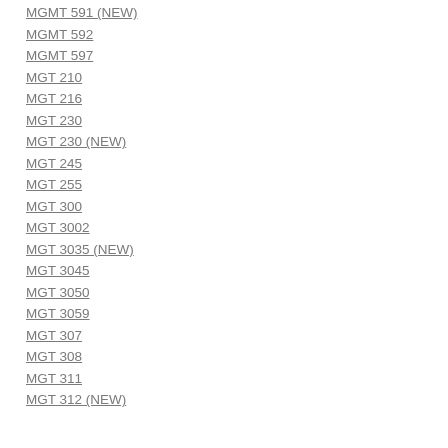MGMT 591 (NEW)
MGMT 592
MGMT 597
MGT 210
MGT 216
MGT 230
MGT 230 (NEW)
MGT 245
MGT 255
MGT 300
MGT 3002
MGT 3035 (NEW)
MGT 3045
MGT 3050
MGT 3059
MGT 307
MGT 308
MGT 311
MGT 312 (NEW)